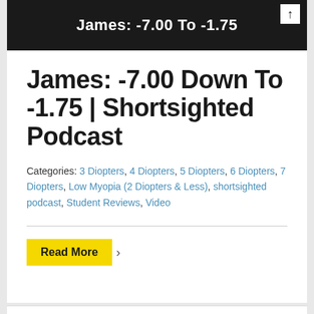[Figure (photo): Dark/black banner image with a person partially visible, showing bold white text 'James: -7.00 To -1.75' and a white icon in the top right corner]
James: -7.00 Down To -1.75 | Shortsighted Podcast
Categories: 3 Diopters, 4 Diopters, 5 Diopters, 6 Diopters, 7 Diopters, Low Myopia (2 Diopters & Less), shortsighted podcast, Student Reviews, Video
Read More >